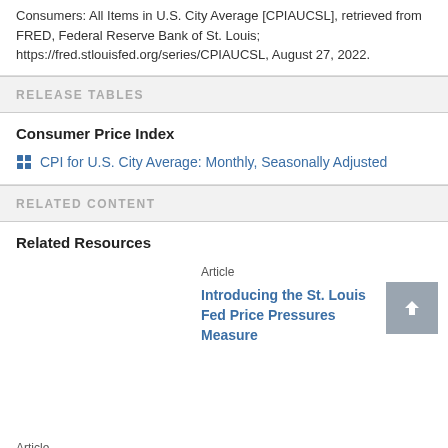Consumers: All Items in U.S. City Average [CPIAUCSL], retrieved from FRED, Federal Reserve Bank of St. Louis; https://fred.stlouisfed.org/series/CPIAUCSL, August 27, 2022.
RELEASE TABLES
Consumer Price Index
CPI for U.S. City Average: Monthly, Seasonally Adjusted
RELATED CONTENT
Related Resources
Article
Introducing the St. Louis Fed Price Pressures Measure
Article